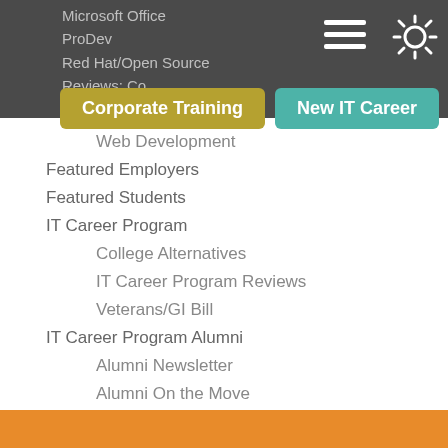Microsoft Office
ProDev
Red Hat/Open Source
Reviews: Co... [Corporate Training]
Security
Web Development
Featured Employers
Featured Students
IT Career Program
College Alternatives
IT Career Program Reviews
Veterans/GI Bill
IT Career Program Alumni
Alumni Newsletter
Alumni On the Move
Reskilling